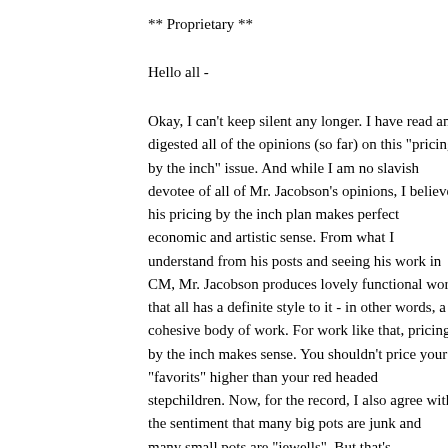** Proprietary **
Hello all -
Okay, I can't keep silent any longer. I have read and digested all of the opinions (so far) on this "pricing by the inch" issue. And while I am no slavish devotee of all of Mr. Jacobson's opinions, I believe his pricing by the inch plan makes perfect economic and artistic sense. From what I understand from his posts and seeing his work in CM, Mr. Jacobson produces lovely functional work that all has a definite style to it - in other words, a cohesive body of work. For work like that, pricing by the inch makes sense. You shouldn't price your "favorits" higher than your red headed stepchildren. Now, for the record, I also agree with the sentiment that many big pots are junk and many small pots are "jewells". But that's